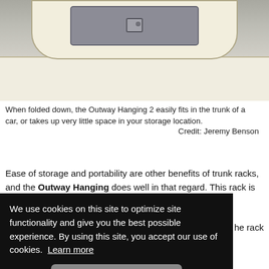[Figure (photo): Photo of the back of a car trunk showing the Outway Hanging 2 bike rack folded down inside, with beige/white car body visible.]
When folded down, the Outway Hanging 2 easily fits in the trunk of a car, or takes up very little space in your storage location.
Credit: Jeremy Benson
Ease of storage and portability are other benefits of trunk racks, and the Outway Hanging does well in that regard. This rack is very lightweight at just over 18 lbs, making it [partially obscured] the rack [partially obscured] sed [partially obscured] inches, [partially obscured] icle, [partially obscured] storage [partially obscured] ch mount racks.
We use cookies on this site to optimize site functionality and give you the best possible experience. By using this site, you accept our use of cookies.  Learn more
Got it!